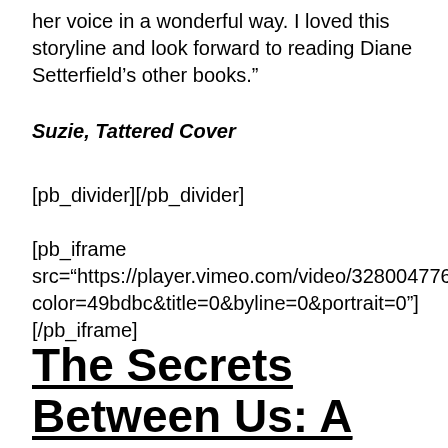her voice in a wonderful way. I loved this storyline and look forward to reading Diane Setterfield’s other books.”
Suzie, Tattered Cover
[pb_divider][/pb_divider]
[pb_iframe src="https://player.vimeo.com/video/328004776?color=49bdbc&title=0&byline=0&portrait=0"] [/pb_iframe]
The Secrets Between Us: A Novel